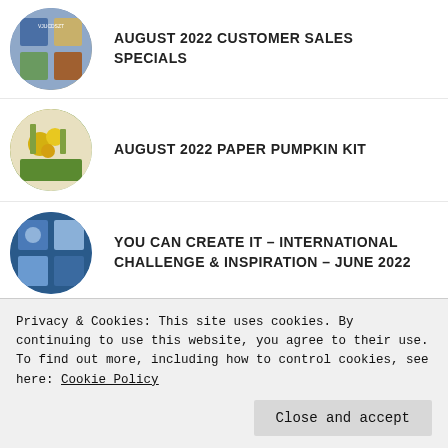AUGUST 2022 CUSTOMER SALES SPECIALS
AUGUST 2022 PAPER PUMPKIN KIT
YOU CAN CREATE IT – INTERNATIONAL CHALLENGE & INSPIRATION – JUNE 2022
JULY 2022 CUSTOMER SALES SPECIALS
2022 STAMPIN' UP! JULY – DECEMBER
Privacy & Cookies: This site uses cookies. By continuing to use this website, you agree to their use.
To find out more, including how to control cookies, see here: Cookie Policy
Close and accept